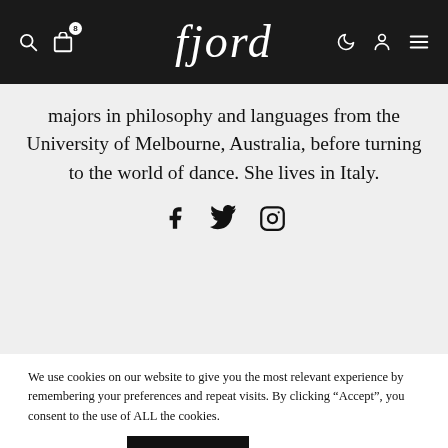fjord — navigation header with search, cart (8), logo, moon, profile, and menu icons
majors in philosophy and languages from the University of Melbourne, Australia, before turning to the world of dance. She lives in Italy.
[Figure (other): Social media icons: Facebook (f), Twitter (bird), Instagram (camera outline)]
We use cookies on our website to give you the most relevant experience by remembering your preferences and repeat visits. By clicking “Accept”, you consent to the use of ALL the cookies.
Cookie settings   ACCEPT